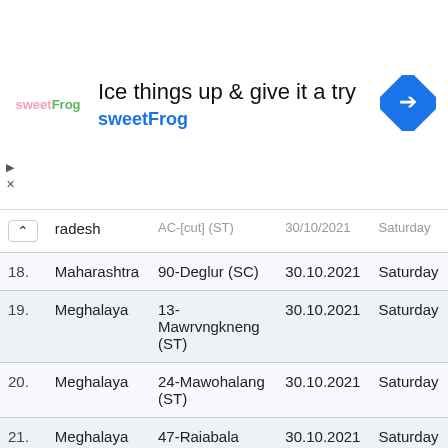[Figure (screenshot): SweetFrog advertisement banner with logo, headline 'Ice things up & give it a try', brand name 'sweetFrog', and navigation arrow icon]
| # | State | Constituency | Date | Day |
| --- | --- | --- | --- | --- |
|  | radesh | AC-[cut off] | 30/10/2021 | Saturday |
| 18. | Maharashtra | 90-Deglur (SC) | 30.10.2021 | Saturday |
| 19. | Meghalaya | 13-Mawrvngkneng (ST) | 30.10.2021 | Saturday |
| 20. | Meghalaya | 24-Mawohalang (ST) | 30.10.2021 | Saturday |
| 21. | Meghalaya | 47-Raiabala | 30.10.2021 | Saturday |
| 22. | Mizoram | 4-Tuirial (ST) | 30.10.2021 | Saturday |
|  |  | 58-Shamtorr |  |  |